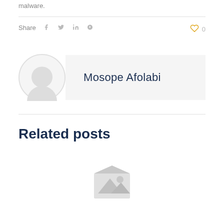malware.
Share
0
Mosope Afolabi
Related posts
[Figure (illustration): Placeholder image icon showing a mountain/landscape image placeholder in light gray]